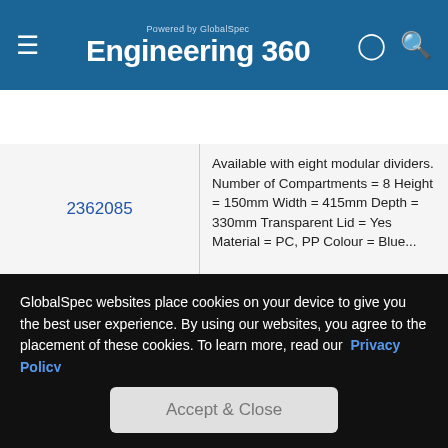Powered by GlobalSpec Engineering 360
Supplier Menu
2362085
Available with eight modular dividers. Number of Compartments = 8 Height = 150mm Width = 415mm Depth = 330mm Transparent Lid = Yes Material = PC, PP Colour = Blue...
GlobalSpec websites place cookies on your device to give you the best user experience. By using our websites, you agree to the placement of these cookies. To learn more, read our Privacy Policy
Accept & Close